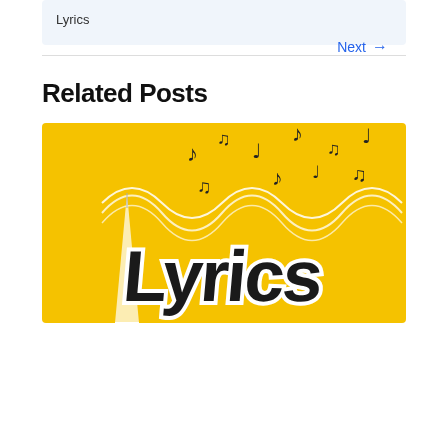Lyrics
Next →
Related Posts
[Figure (illustration): Yellow background illustration with music notes, white wavy sound wave lines, a white pencil drawing, and bold stylized text reading 'Lyrics' in black with white outline]